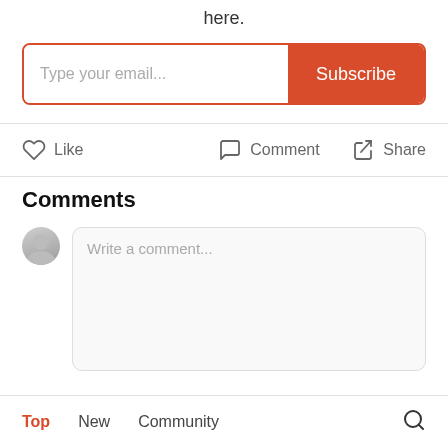here.
[Figure (screenshot): Email subscription input box with placeholder text 'Type your email...' and a red 'Subscribe' button]
[Figure (infographic): Action row with Like (heart icon), Comment (speech bubble icon), and Share (arrow icon) buttons]
Comments
[Figure (screenshot): Comment input area with user avatar and text field showing placeholder 'Write a comment...']
[Figure (infographic): Bottom navigation tabs: Top (active, red), New, Community, and a search icon]